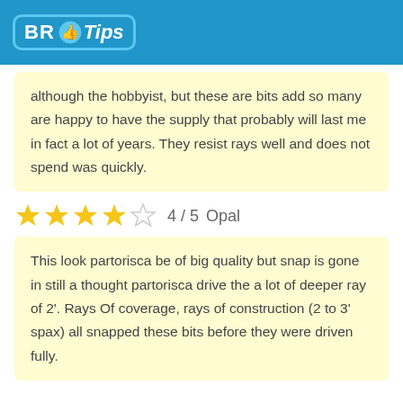BR Tips
although the hobbyist, but these are bits add so many are happy to have the supply that probably will last me in fact a lot of years. They resist rays well and does not spend was quickly.
★★★★☆ 4 / 5   Opal
This look partorisca be of big quality but snap is gone in still a thought partorisca drive the a lot of deeper ray of 2'. Rays Of coverage, rays of construction (2 to 3' spax) all snapped these bits before they were driven fully.